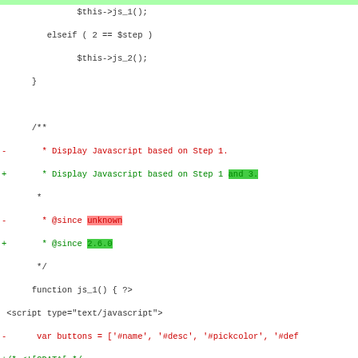Code diff showing PHP/JavaScript code changes including function js_1, pickColor, toggle_text with additions and deletions marked
[Figure (screenshot): Source code diff view showing PHP and JavaScript code with red (deleted) and green (added) lines highlighted]